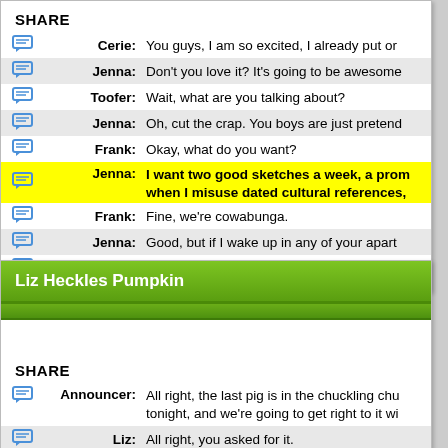SHARE
| icon | speaker | dialogue |
| --- | --- | --- |
| [icon] | Cerie: | You guys, I am so excited, I already put or |
| [icon] | Jenna: | Don't you love it? It's going to be awesome |
| [icon] | Toofer: | Wait, what are you talking about? |
| [icon] | Jenna: | Oh, cut the crap. You boys are just pretend |
| [icon] | Frank: | Okay, what do you want? |
| [icon] | Jenna: | I want two good sketches a week, a prom when I misuse dated cultural references, |
| [icon] | Frank: | Fine, we're cowabunga. |
| [icon] | Jenna: | Good, but if I wake up in any of your apart |
| [icon] | Frank: | Great. |
Liz Heckles Pumpkin
SHARE
| icon | speaker | dialogue |
| --- | --- | --- |
| [icon] | Announcer: | All right, the last pig is in the chuckling chu tonight, and we're going to get right to it wi |
| [icon] | Liz: | All right, you asked for it. |
| [icon] | Rick Wayne: | Good evening, everyone! How y'all doing? |
| [icon] | Liz: | Hey, this your first time doing this? |